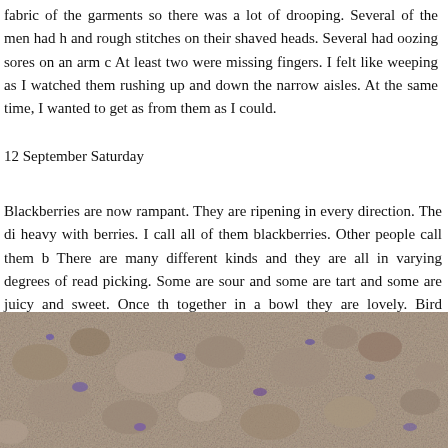fabric of the garments so there was a lot of drooping. Several of the men had h and rough stitches on their shaved heads. Several had oozing sores on an arm c At least two were missing fingers. I felt like weeping as I watched them rushing up and down the narrow aisles. At the same time, I wanted to get as from them as I could.
12 September Saturday
Blackberries are now rampant. They are ripening in every direction. The di heavy with berries. I call all of them blackberries. Other people call them b There are many different kinds and they are all in varying degrees of read picking. Some are sour and some are tart and some are juicy and sweet. Once th together in a bowl they are lovely. Bird droppings full of blackberry excre everywhere. There are purple and blue smudges on the clothes that hang on the line, on the outdoor tables and chairs, on the car, on the road.
[Figure (photo): Close-up photo of a rough, rocky or gravelly ground surface with purple/blue smudges, resembling bird droppings with blackberry excrement stains on a textured surface.]